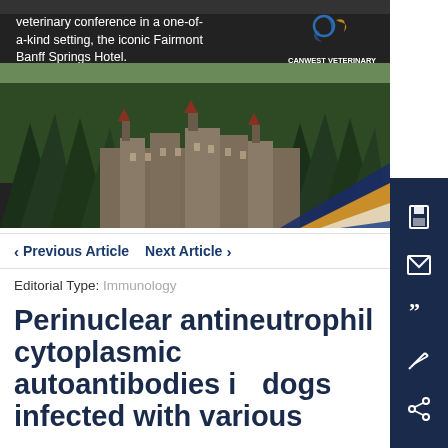[Figure (photo): Advertisement banner for CanWest Veterinary Conference at the Fairmont Banff Springs Hotel, with text overlay, Register Now button, CanWest logo, and a photo of the hotel surrounded by forest.]
< Previous Article   Next Article >
Editorial Type:  Immunology
Perinuclear antineutrophil cytoplasmic autoantibodies in dogs infected with various